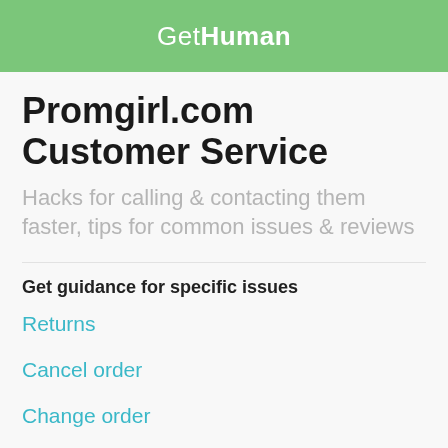GetHuman
Promgirl.com Customer Service
Hacks for calling & contacting them faster, tips for common issues & reviews
Get guidance for specific issues
Returns
Cancel order
Change order
Track order